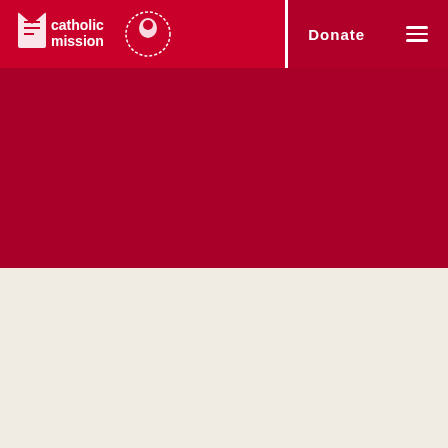[Figure (screenshot): Catholic Mission website header. Navigation bar with Catholic Mission logo (showing a pen/bookmark icon, the words 'catholic mission', and a circular 200 years anniversary badge with a face illustration) on the left, and 'Donate' text link and hamburger menu icon on the right, all on a crimson red background. Below is a large deep red hero section. The bottom portion of the page shows a cream/off-white background content area.]